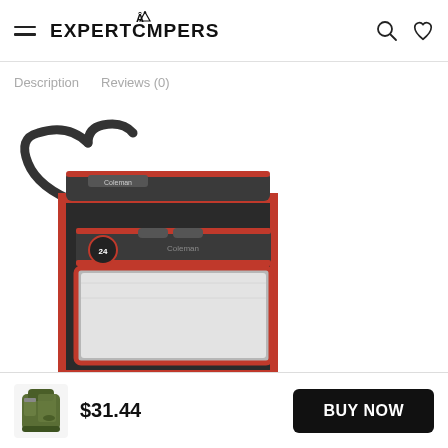EXPERTCAMPERS
Description   Reviews (0)
[Figure (photo): Coleman soft-sided cooler bag, dark grey with red trim, clear front pocket, carry strap]
[Figure (photo): Small thumbnail of a green camping backpack/cooler]
$31.44
BUY NOW